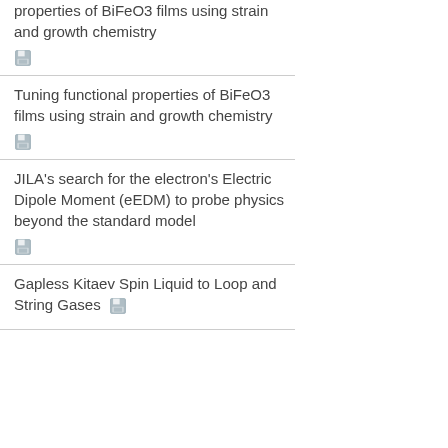properties of BiFeO3 films using strain and growth chemistry
Tuning functional properties of BiFeO3 films using strain and growth chemistry
JILA's search for the electron's Electric Dipole Moment (eEDM) to probe physics beyond the standard model
Gapless Kitaev Spin Liquid to Loop and String Gases